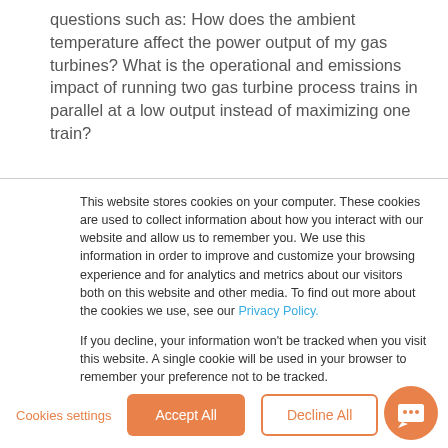questions such as: How does the ambient temperature affect the power output of my gas turbines? What is the operational and emissions impact of running two gas turbine process trains in parallel at a low output instead of maximizing one train?
This website stores cookies on your computer. These cookies are used to collect information about how you interact with our website and allow us to remember you. We use this information in order to improve and customize your browsing experience and for analytics and metrics about our visitors both on this website and other media. To find out more about the cookies we use, see our Privacy Policy.

If you decline, your information won't be tracked when you visit this website. A single cookie will be used in your browser to remember your preference not to be tracked.
Cookies settings | Accept All | Decline All